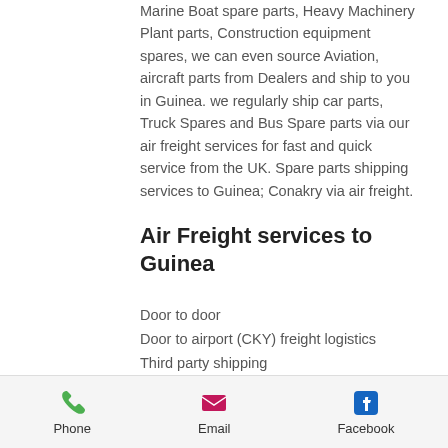Marine Boat spare parts, Heavy Machinery Plant parts, Construction equipment spares, we can even source Aviation, aircraft parts from Dealers and ship to you in Guinea. we regularly ship car parts, Truck Spares and Bus Spare parts via our air freight services for fast and quick service from the UK. Spare parts shipping services to Guinea; Conakry via air freight.
Air Freight services to Guinea
Door to door
Door to airport (CKY) freight logistics
Third party shipping
Temperature controlled transportation
Hazardous good transportation
Commercial Export packing and labelling
Phone   Email   Facebook